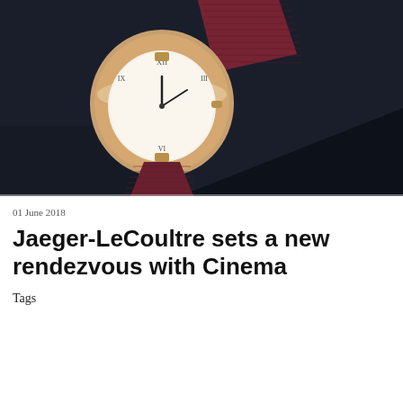[Figure (photo): Close-up photograph of a luxury watch with rose gold case, diamond-set bezel, white dial with roman numerals, and dark burgundy/red crocodile leather strap, placed on a dark navy/black surface.]
01 June 2018
Jaeger-LeCoultre sets a new rendezvous with Cinema
Tags